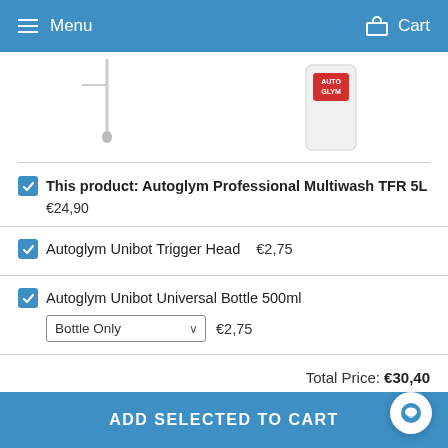Menu   Cart
[Figure (photo): Partial view of two product images: a thin spray nozzle/wand on the left, and a clear Autoglym branded bottle on the right]
This product: Autoglym Professional Multiwash TFR 5L  €24,90
Autoglym Unibot Trigger Head  €2,75
Autoglym Unibot Universal Bottle 500ml  Bottle Only  €2,75
Total Price: €30,40
ADD SELECTED TO CART